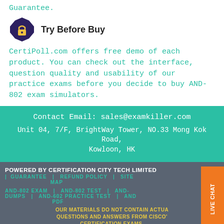Guarantee.
[Figure (logo): Shield/lock icon badge in dark blue/purple]
Try Before Buy
CertiPoll.com offers free demo of each product. You can check out the interface, question quality and usability of our practice exams before you decide to buy AND-802 exam simulators.
Contact Email: sales@examkiller.com
Unit 04, 7/F, BrightWay Tower, NO.33 Mong Kok Road, Kowloon, HK
POWERED BY CERTIFICATION CITY TECH LIMITED | GUARANTEE | REFUND POLICY | SITE MAP
AND-802 EXAM | AND-802 TEST | AND-802 DUMPS | AND-602 PRACTICE TEST | AND-802 PDF
OUR MATERIALS DO NOT CONTAIN ACTUAL QUESTIONS AND ANSWERS FROM CISCO'S CERTIFICATION EXAMS.